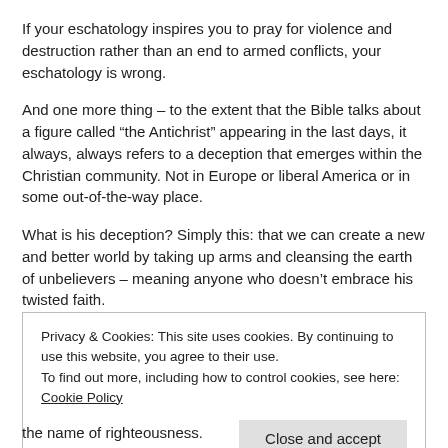If your eschatology inspires you to pray for violence and destruction rather than an end to armed conflicts, your eschatology is wrong.
And one more thing – to the extent that the Bible talks about a figure called “the Antichrist” appearing in the last days, it always, always refers to a deception that emerges within the Christian community. Not in Europe or liberal America or in some out-of-the-way place.
What is his deception? Simply this: that we can create a new and better world by taking up arms and cleansing the earth of unbelievers – meaning anyone who doesn’t embrace his twisted faith.
Privacy & Cookies: This site uses cookies. By continuing to use this website, you agree to their use.
To find out more, including how to control cookies, see here: Cookie Policy
Close and accept
the name of righteousness.